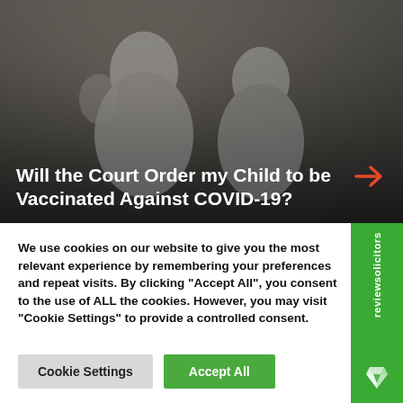[Figure (photo): Dark-tinted photo of people (appearing to be family/children) in the background, heavily overlaid with a dark gradient]
Will the Court Order my Child to be Vaccinated Against COVID-19?
We use cookies on our website to give you the most relevant experience by remembering your preferences and repeat visits. By clicking "Accept All", you consent to the use of ALL the cookies. However, you may visit "Cookie Settings" to provide a controlled consent.